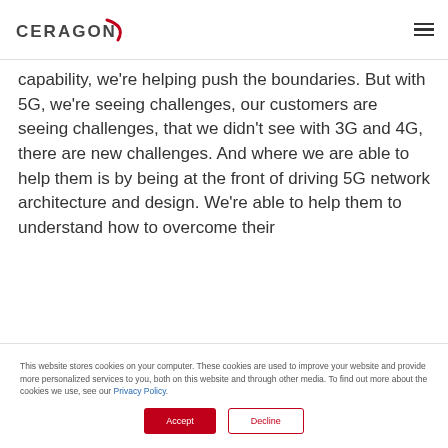CERAGON
capability, we're helping push the boundaries. But with 5G, we're seeing challenges, our customers are seeing challenges, that we didn't see with 3G and 4G, there are new challenges. And where we are able to help them is by being at the front of driving 5G network architecture and design. We're able to help them to understand how to overcome their
This website stores cookies on your computer. These cookies are used to improve your website and provide more personalized services to you, both on this website and through other media. To find out more about the cookies we use, see our Privacy Policy.
Accept
Decline